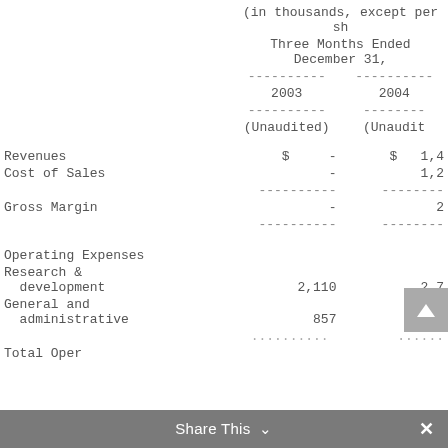|  | Three Months Ended December 31, 2003 (Unaudited) | Three Months Ended December 31, 2004 (Unaudited) |
| --- | --- | --- |
| Revenues | $ - | $ 1,4... |
| Cost of Sales | - | 1,2... |
| Gross Margin | - | 2... |
| Operating Expenses |  |  |
| Research & development | 2,110 | 2,7... |
| General and administrative | 857 | 7... |
| Total Operating Expenses | 2,967 | 3,5... |
Share This ∨  ×